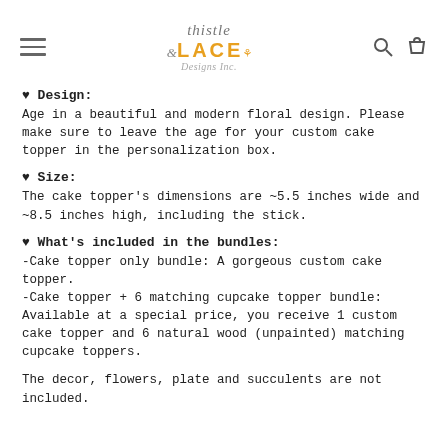Thistle & Lace Designs Inc. — navigation header with logo, hamburger menu, search and cart icons
♥ Design:
Age in a beautiful and modern floral design. Please make sure to leave the age for your custom cake topper in the personalization box.
♥ Size:
The cake topper's dimensions are ~5.5 inches wide and ~8.5 inches high, including the stick.
♥ What's included in the bundles:
-Cake topper only bundle: A gorgeous custom cake topper.
-Cake topper + 6 matching cupcake topper bundle: Available at a special price, you receive 1 custom cake topper and 6 natural wood (unpainted) matching cupcake toppers.
The decor, flowers, plate and succulents are not included.